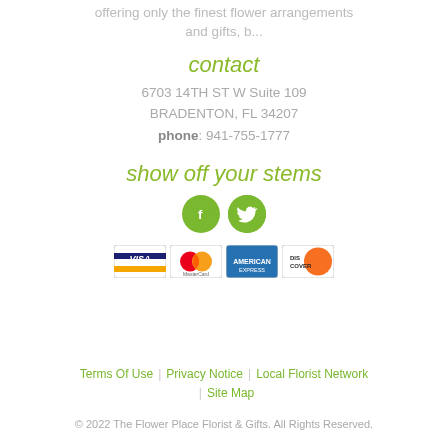offering only the finest flower arrangements and gifts, b...
contact
6703 14TH ST W Suite 109
BRADENTON, FL 34207
phone: 941-755-1777
show off your stems
[Figure (logo): Facebook and Twitter social media icons as green circles]
[Figure (logo): Payment card logos: Visa, MasterCard, American Express, Discover]
Terms Of Use | Privacy Notice | Local Florist Network | Site Map
© 2022 The Flower Place Florist & Gifts. All Rights Reserved.